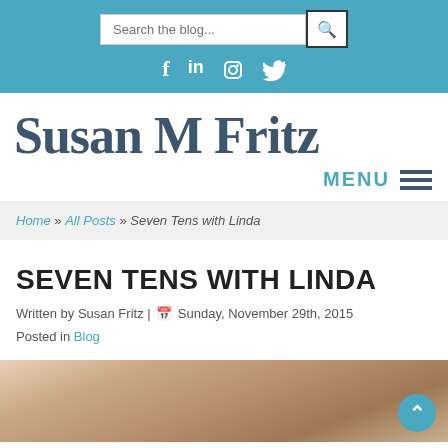Search the blog... [search bar] | f in
Susan M Fritz
MENU ≡
Home » All Posts » Seven Tens with Linda
SEVEN TENS WITH LINDA
Written by Susan Fritz | 📅 Sunday, November 29th, 2015
Posted in Blog
[Figure (photo): A close-up photo of hands or fingers near carpet or fabric, partially visible at the bottom of the page]